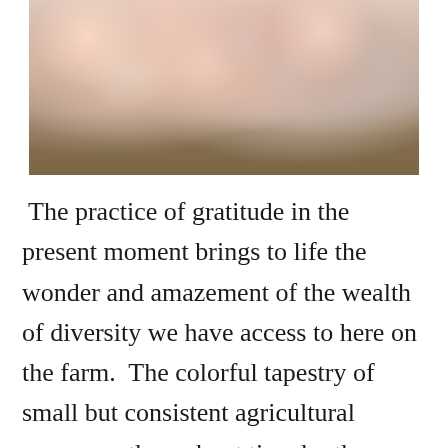[Figure (photo): Close-up photograph of pink and white mineral crystals (likely Himalayan pink salt) on what appears to be wooden sticks or cinnamon sticks, with a warm pinkish-brown color palette.]
The practice of gratitude in the present moment brings to life the wonder and amazement of the wealth of diversity we have access to here on the farm.  The colorful tapestry of small but consistent agricultural successes throughout time by the hands of the women and men of this earth is present with us tonight with our bowl of stew.  What an honor it is to say a